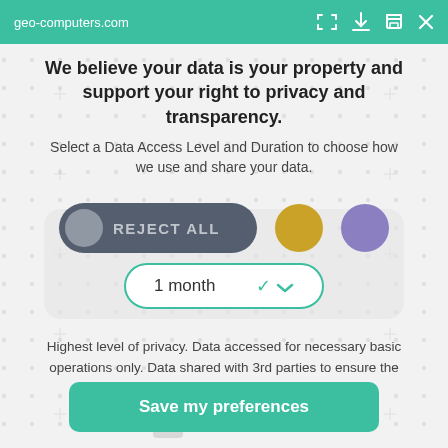geo-computers.com
We believe your data is your property and support your right to privacy and transparency.
Select a Data Access Level and Duration to choose how we use and share your data.
[Figure (infographic): Privacy consent widget showing REJECT ALL toggle pill in dark grey with a grey circle on left, a gold circle button, a purple circle button, and a '1 month' dropdown with teal border and chevron]
Highest level of privacy. Data accessed for necessary basic operations only. Data shared with 3rd parties to ensure the site is secure and works on your device
GeoBook 240
Save my preferences